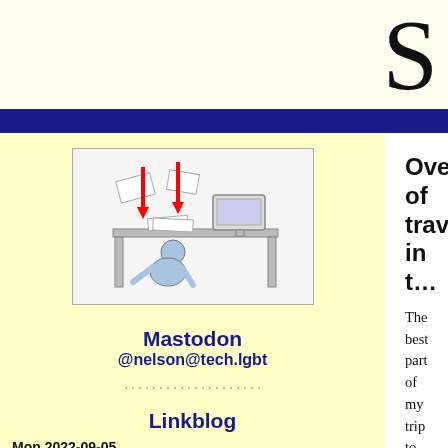S
[Figure (illustration): Cartoon illustration of a person crouching under a desk with arrows pointing down, a monitor and papers on the desk, suggesting taking cover]
Mastodon
@nelson@tech.lgbt
Linkblog
Mon 2022-09-05
Starship prompt
Nerd Fonts
2022 Hugo Awards
Automattic stock plan
Overview of travels in t…
The best part of my trip to Fr… Southwest. Carcassonne, the … restful, lots of interesting little t… found. See also my notes on resta…
[Figure (photo): Photograph of a medieval stone fortress/castle on a rocky hillside overlooking a river, with trees and buildings below, taken on a cloudy day]